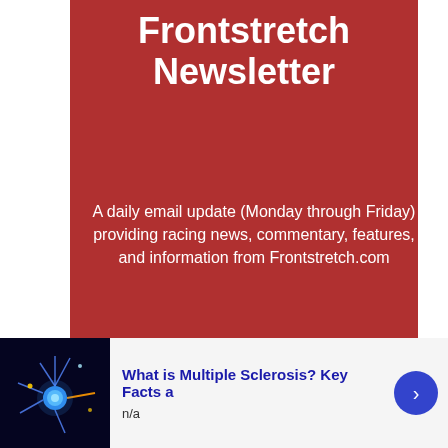Frontstretch Newsletter
A daily email update (Monday through Friday) providing racing news, commentary, features, and information from Frontstretch.com
We hate spam. Your email address will not be sold or shared with anyone else.
[Figure (screenshot): Email subscription form with input field placeholder 'Enter your email address' and a yellow SUBSCRIBE button]
[Figure (screenshot): Advertisement banner at bottom: neuron image on left, blue title 'What is Multiple Sclerosis? Key Facts a', subtitle 'n/a', close button (X), and blue arrow button on right]